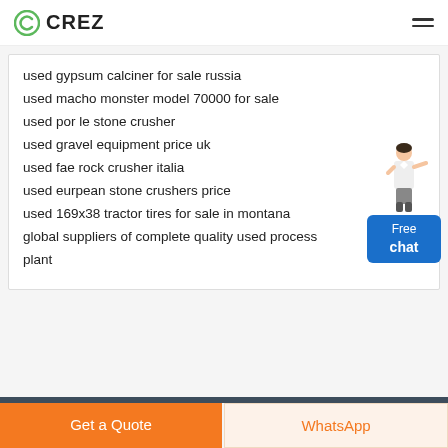CREZ
used gypsum calciner for sale russia
used macho monster model 70000 for sale
used por le stone crusher
used gravel equipment price uk
used fae rock crusher italia
used eurpean stone crushers price
used 169x38 tractor tires for sale in montana
global suppliers of complete quality used process plant
[Figure (illustration): Cartoon figure of a woman in white shirt pointing, next to a blue Free chat button widget]
Get a Quote
WhatsApp